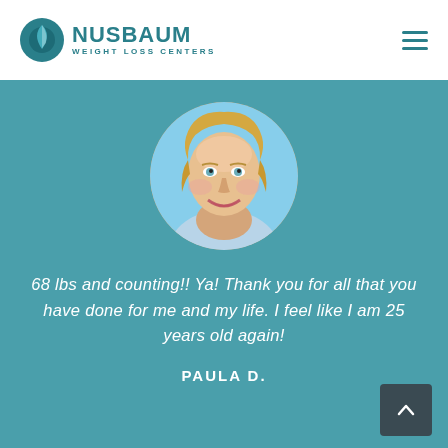NUSBAUM WEIGHT LOSS CENTERS
[Figure (photo): Circular cropped portrait photo of a smiling middle-aged blonde woman against a teal background]
68 lbs and counting!! Ya! Thank you for all that you have done for me and my life. I feel like I am 25 years old again!
PAULA D.